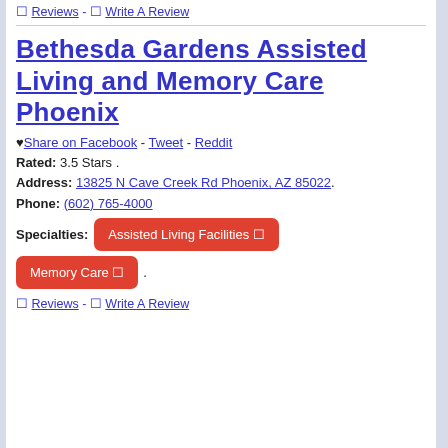🔲 Reviews - 🔲 Write A Review
Bethesda Gardens Assisted Living and Memory Care Phoenix
♥ Share on Facebook - Tweet - Reddit
Rated: 3.5 Stars .
Address: 13825 N Cave Creek Rd Phoenix, AZ 85022.
Phone: (602) 765-4000
Specialties: Assisted Living Facilities 🔲
Memory Care 🔲 .
🔲 Reviews - 🔲 Write A Review